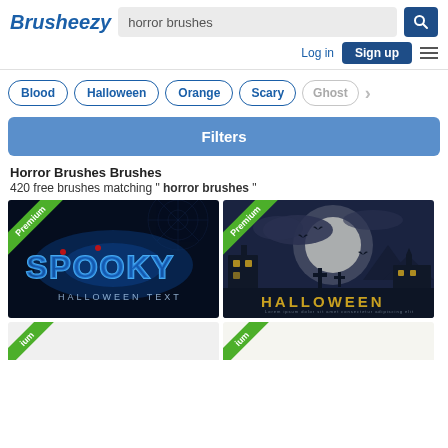[Figure (screenshot): Brusheezy website header with logo, search bar showing 'horror brushes', search button, Log in link, Sign up button, and hamburger menu]
Blood  Halloween  Orange  Scary  Ghost  >
Filters
Horror Brushes Brushes
420 free brushes matching " horror brushes "
[Figure (screenshot): Premium thumbnail: Spooky Halloween text effect with blue glowing letters and spider web background]
[Figure (screenshot): Premium thumbnail: Halloween night scene with moon, graveyard, bats and church silhouettes]
[Figure (screenshot): Partial thumbnail bottom row left - Premium badge visible]
[Figure (screenshot): Partial thumbnail bottom row right - Premium badge visible]